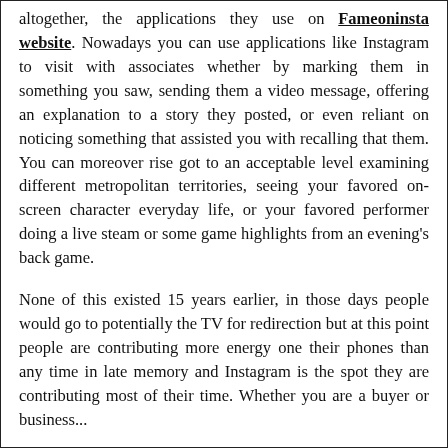altogether, the applications they use on Fameoninsta website. Nowadays you can use applications like Instagram to visit with associates whether by marking them in something you saw, sending them a video message, offering an explanation to a story they posted, or even reliant on noticing something that assisted you with recalling that them. You can moreover rise got to an acceptable level examining different metropolitan territories, seeing your favored on-screen character everyday life, or your favored performer doing a live steam or some game highlights from an evening's back game.
None of this existed 15 years earlier, in those days people would go to potentially the TV for redirection but at this point people are contributing more energy one their phones than any time in late memory and Instagram is the spot they are contributing most of their time. Whether you are a buyer or business...